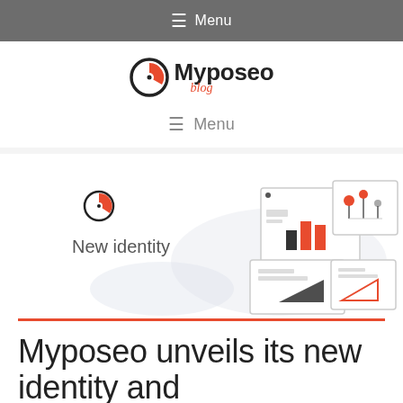Menu
[Figure (logo): Myposeo blog logo with circular icon and text]
Menu
[Figure (illustration): New identity illustration showing dashboard widgets with charts and graphs, Myposeo logo icon, text 'New identity']
Myposeo unveils its new identity and